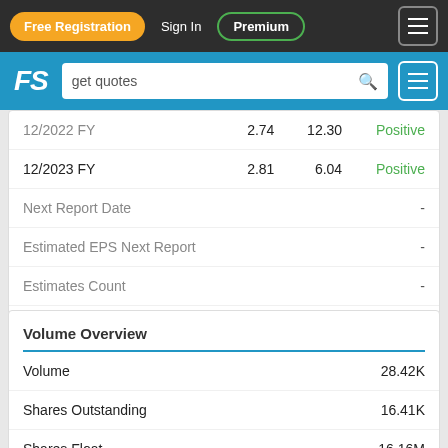Free Registration  Sign In  Premium
[Figure (screenshot): Website navigation bar with Free Registration button, Sign In, Premium, search bar with 'get quotes', and hamburger menus]
| Period | EPS | Revenue | Sentiment |
| --- | --- | --- | --- |
| 12/2022 FY | 2.74 | 12.30 | Positive |
| 12/2023 FY | 2.81 | 6.04 | Positive |
| Next Report Date |  |  | - |
| Estimated EPS Next Report |  |  | - |
| Estimates Count |  |  | - |
| EPS Growth Next 5 Years % |  |  | - |
Volume Overview
| Metric | Value |
| --- | --- |
| Volume | 28.42K |
| Shares Outstanding | 16.41K |
| Shares Float | 16.16M |
| Trades Count | 741 |
| Dollar Volume | 956.24K |